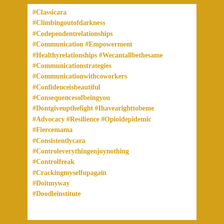#Classicara
#Climbingoutofdarkness
#Codependentrelationships
#Communication #Empowerment
#Healthyrelationships #Wecantallbethesame
#Communicationstrategies
#Communicationwithcoworkers
#Confidenceisbeautiful
#Consequencesofbeingyou
#Dontgiveupthefight #Ihavearighttobeme
#Advocacy #Resilience #Opioidepidemic
#Fiercemama
#Consistentlycara
#Controleverythingenjoynothing
#Controlfreak
#Crackingmyselfupagain
#Doitmyway
#Doodleinstitute